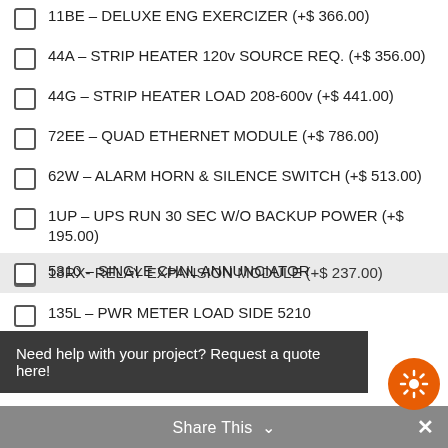11BE – DELUXE ENG EXERCIZER (+$ 366.00)
44A – STRIP HEATER 120v SOURCE REQ. (+$ 356.00)
44G – STRIP HEATER LOAD 208-600v (+$ 441.00)
72EE – QUAD ETHERNET MODULE (+$ 786.00)
62W – ALARM HORN & SILENCE SWITCH (+$ 513.00)
1UP – UPS RUN 30 SEC W/O BACKUP POWER (+$ 195.00)
18RX- RELAY EXPANSION MODULE (+$ 237.00)
135L – PWR METER LOAD SIDE 5210
Need help with your project? Request a quote here!
5310 – SINGLE CHNL ANNUNCIATOR
Share This  ×